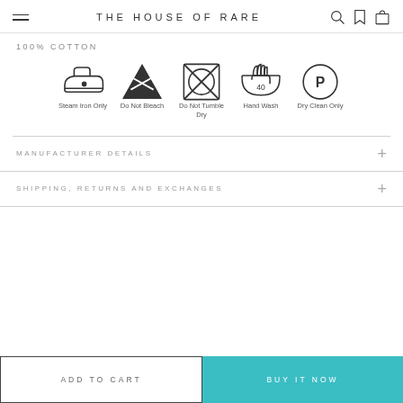THE HOUSE OF RARE
100% COTTON
[Figure (infographic): Five laundry care symbols in a row: Steam Iron Only, Do Not Bleach, Do Not Tumble Dry, Hand Wash (40°C), Dry Clean Only]
MANUFACTURER DETAILS
SHIPPING, RETURNS AND EXCHANGES
ADD TO CART
BUY IT NOW